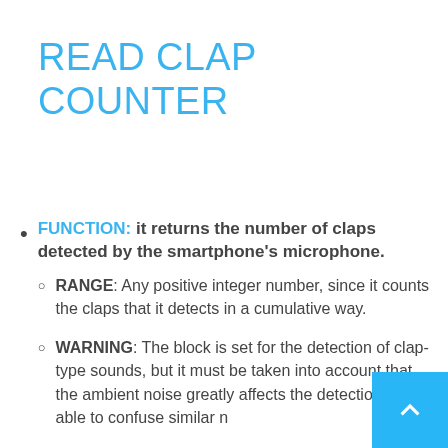READ CLAP COUNTER
FUNCTION: it returns the number of claps detected by the smartphone's microphone.
RANGE: Any positive integer number, since it counts the claps that it detects in a cumulative way.
WARNING: The block is set for the detection of clap-type sounds, but it must be taken into account that the ambient noise greatly affects the detection, being able to confuse similar n